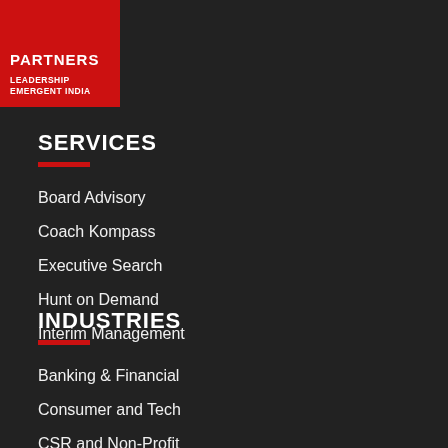[Figure (logo): Red square logo with text PARTNERS and LEADERSHIP EMERGENT INDIA]
SERVICES
Board Advisory
Coach Kompass
Executive Search
Hunt on Demand
Interim Management
INDUSTRIES
Banking & Financial
Consumer and Tech
CSR and Non-Profit